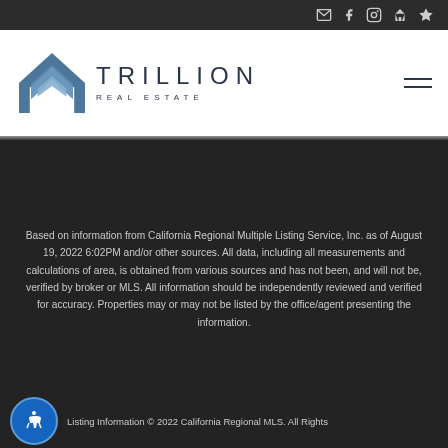Social icons: email, facebook, instagram, zillow, yelp
[Figure (logo): Trillion Real Estate logo with house/chevron icon and company name]
Based on information from California Regional Multiple Listing Service, Inc. as of August 19, 2022 6:02PM and/or other sources. All data, including all measurements and calculations of area, is obtained from various sources and has not been, and will not be, verified by broker or MLS. All information should be independently reviewed and verified for accuracy. Properties may or may not be listed by the office/agent presenting the information.
Listing Information © 2022 California Regional MLS. All Rights